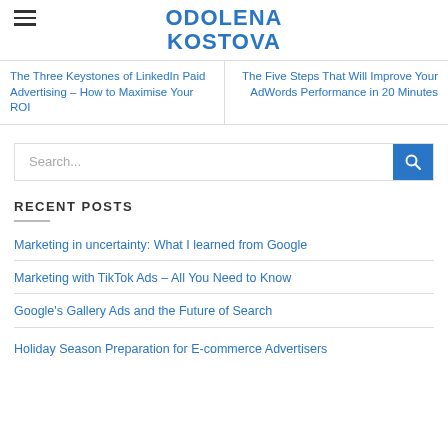ODOLENA KOSTOVA
The Three Keystones of LinkedIn Paid Advertising – How to Maximise Your ROI
The Five Steps That Will Improve Your AdWords Performance in 20 Minutes
Search...
RECENT POSTS
Marketing in uncertainty: What I learned from Google
Marketing with TikTok Ads – All You Need to Know
Google's Gallery Ads and the Future of Search
Holiday Season Preparation for E-commerce Advertisers